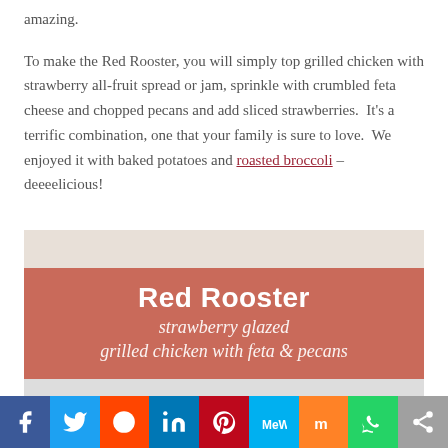amazing.
To make the Red Rooster, you will simply top grilled chicken with strawberry all-fruit spread or jam, sprinkle with crumbled feta cheese and chopped pecans and add sliced strawberries. It's a terrific combination, one that your family is sure to love. We enjoyed it with baked potatoes and roasted broccoli – deeeelicious!
[Figure (photo): Promotional image for Red Rooster dish showing text overlay on a salmon/terracotta colored banner reading 'Red Rooster strawberry glazed grilled chicken with feta & pecans']
[Figure (infographic): Social sharing bar with icons for Facebook, Twitter, Reddit, LinkedIn, Pinterest, MeWe, Mix, WhatsApp, and Share]